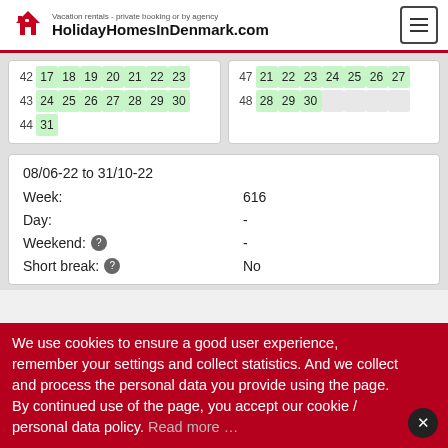Vacation rentals - private booking or by agency HolidayHomesInDenmark.com
[Figure (other): Calendar grid showing weeks 42-44 with days 17-31 highlighted in green, and weeks 47-48 with days 21-30 highlighted in green]
| 08/06-22 to 31/10-22 |
| Week: | 616 |
| Day: | - |
| Weekend: | - |
| Short break: | No |
We use cookies to ensure a good user experience, remember your settings and collect statistics. And we collect and process the personal data you provide using the page. By continued use of the page, you accept our cookie / personal data policy. Read more …